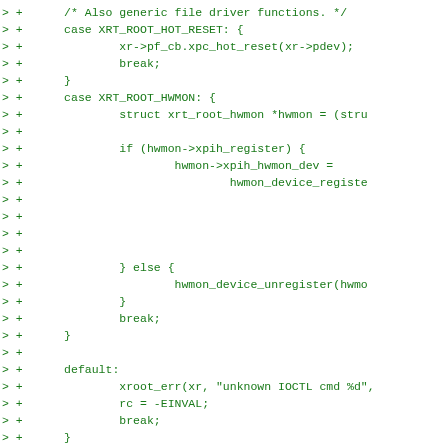[Figure (screenshot): Source code diff snippet in green monospace font showing C code for XRT root driver functions including XRT_ROOT_HOT_RESET, XRT_ROOT_HWMON cases, default case, return statement, and xroot_bringup_group_work function definition.]